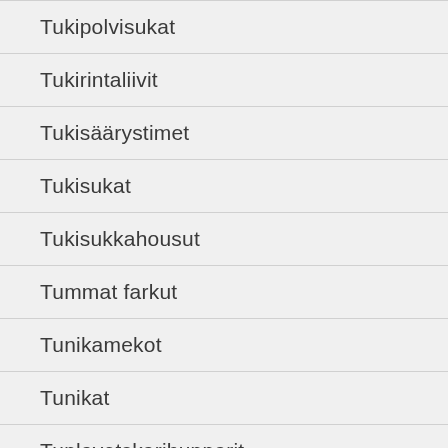Tukipolvisukat
Tukirintaliivit
Tukisäärystimet
Tukisukat
Tukisukkahousut
Tummat farkut
Tunikamekot
Tunikat
Tuplavetskarihupparit